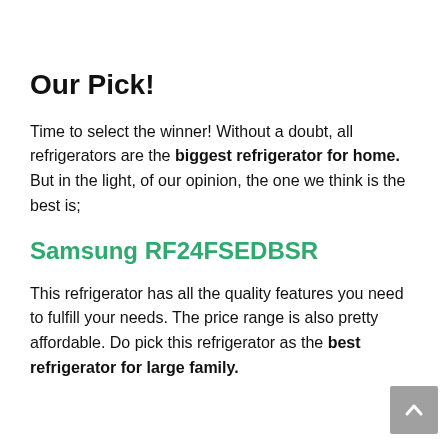Our Pick!
Time to select the winner! Without a doubt, all refrigerators are the biggest refrigerator for home. But in the light, of our opinion, the one we think is the best is;
Samsung RF24FSEDBSR
This refrigerator has all the quality features you need to fulfill your needs. The price range is also pretty affordable. Do pick this refrigerator as the best refrigerator for large family.